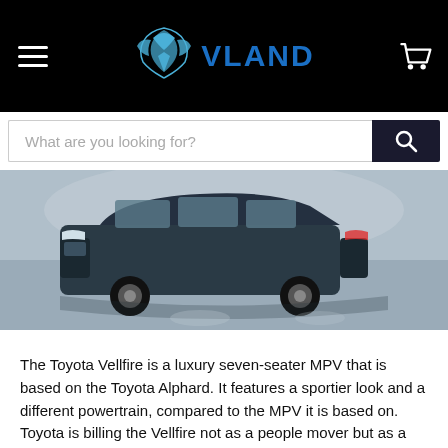[Figure (logo): VLAND automotive brand logo with stylized wing/shield icon in blue and white, brand name in blue capital letters on black background]
[Figure (photo): Toyota Vellfire luxury MPV vehicle photographed from front-side angle on a grey reflective floor surface]
The Toyota Vellfire is a luxury seven-seater MPV that is based on the Toyota Alphard. It features a sportier look and a different powertrain, compared to the MPV it is based on. Toyota is billing the Vellfire not as a people mover but as a premium luxury car. The car has a lot to offer and is genuinely comfortable, especially for the rear passengers but it has its work cut out as it sits between the Kia Carnival at one end of the MPV spectrum and the Mercedes-Benz V-Class on the other